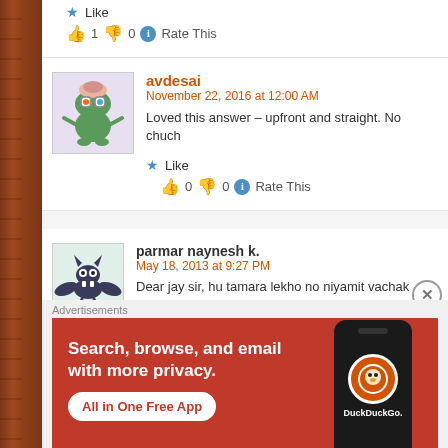Like
👍 1 👎 0 ℹ Rate This
avdesai
November 22, 2016 at 12:00 AM
Loved this answer – upfront and straight. No chuch
Like
👍 0 👎 0 ℹ Rate This
[Figure (illustration): Cartoon avatar of a dinosaur/monster character with colorful glasses]
parmar naynesh k.
May 18, 2013 at 9:27 PM
Dear jay sir, hu tamara lekho no niyamit vachak chu..tama sundar lekho lakhta rehjo..
[Figure (illustration): Cartoon bat avatar character]
Advertisements
[Figure (screenshot): DuckDuckGo advertisement banner: Search, browse, and email with more privacy. All in One Free App. Shows phone with DuckDuckGo logo.]